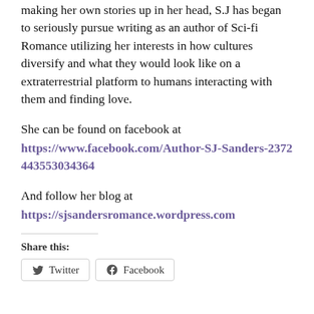making her own stories up in her head, S.J has began to seriously pursue writing as an author of Sci-fi Romance utilizing her interests in how cultures diversify and what they would look like on a extraterrestrial platform to humans interacting with them and finding love.
She can be found on facebook at
https://www.facebook.com/Author-SJ-Sanders-2372443553034364
And follow her blog at
https://sjsandersromance.wordpress.com
Share this:
Twitter  Facebook